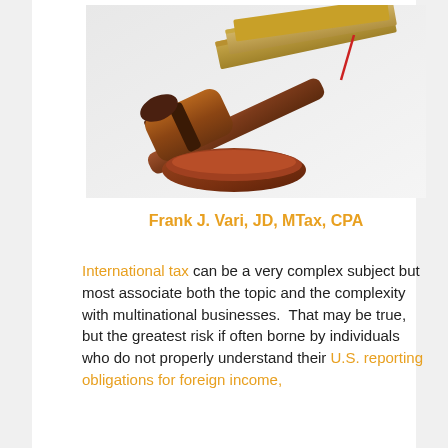[Figure (photo): A wooden judge's gavel resting in front of stacked law books on a white background.]
Frank J. Vari, JD, MTax, CPA
International tax can be a very complex subject but most associate both the topic and the complexity with multinational businesses.  That may be true, but the greatest risk if often borne by individuals who do not properly understand their U.S. reporting obligations for foreign income,